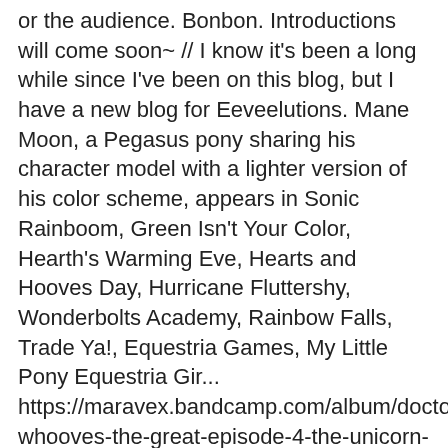or the audience. Bonbon. Introductions will come soon~ // I know it's been a long while since I've been on this blog, but I have a new blog for Eeveelutions. Mane Moon, a Pegasus pony sharing his character model with a lighter version of his color scheme, appears in Sonic Rainboom, Green Isn't Your Color, Hearth's Warming Eve, Hearts and Hooves Day, Hurricane Fluttershy, Wonderbolts Academy, Rainbow Falls, Trade Ya!, Equestria Games, My Little Pony Equestria Gir... https://maravex.bandcamp.com/album/doctor-whooves-the-great-episode-4-the-unicorn-heist-soundtrack. ... Discover more posts about doctor-whooves. He's even talked to animators, something I dared not do. https://docs.google.com/document/d/1TNsY1WjRsOiH0VB4n1hLsDMMa-JbKrzWJwmQ/edit. This is the place for info, updates and other announcements regarding the adventures of the Doctor and The Great and Powerful Trixie throughout time and space! Show accuracy and all]. I hope to revive it ... skijarama asked: Hello! I'm want to try and make sompony's day. That gives a month and a half for lines, rerecordings, and other technical fafs,